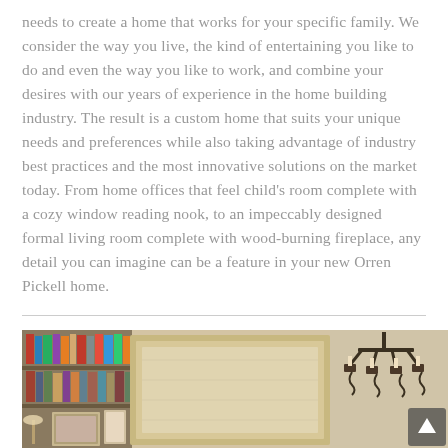needs to create a home that works for your specific family. We consider the way you live, the kind of entertaining you like to do and even the way you like to work, and combine your desires with our years of experience in the home building industry. The result is a custom home that suits your unique needs and preferences while also taking advantage of industry best practices and the most innovative solutions on the market today. From home offices that feel child's room complete with a cozy window reading nook, to an impeccably designed formal living room complete with wood-burning fireplace, any detail you can imagine can be a feature in your new Orren Pickell home.
[Figure (photo): Interior photo of a custom home showing built-in bookshelves filled with books and framed photos on the left, a framed decorative panel in the center, and a wrought-iron chandelier visible on the upper right, with warm golden-toned millwork throughout.]